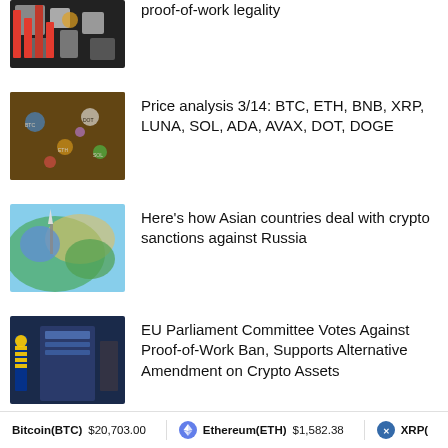[Figure (photo): Partial news thumbnail at top - cryptocurrency hardware/mining related image]
proof-of-work legality
[Figure (photo): Colorful cryptocurrency tokens/coins scattered image]
Price analysis 3/14: BTC, ETH, BNB, XRP, LUNA, SOL, ADA, AVAX, DOT, DOGE
[Figure (photo): Map of Asia with colorful overlay - crypto sanctions Russia]
Here’s how Asian countries deal with crypto sanctions against Russia
[Figure (photo): EU Parliament building with European flags]
EU Parliament Committee Votes Against Proof-of-Work Ban, Supports Alternative Amendment on Crypto Assets
[Figure (photo): Digital/NFT themed image with person and glowing elements]
Pixar NFT drop sells out on VeVe shortly after launch
Bitcoin(BTC) $20,703.00  Ethereum(ETH) $1,582.38  XRP(